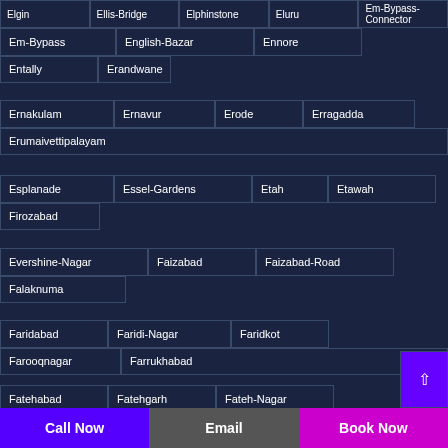Elgin | Ellis-Bridge | Elphinstone | Eluru | Em-Bypass-Connector
Em-Bypass | English-Bazar | Ennore | Entally | Erandwane
Ernakulam | Ernavur | Erode | Erragadda | Erumaivettipalayam
Esplanade | Essel-Gardens | Etah | Etawah | Firozabad
Evershine-Nagar | Faizabad | Faizabad-Road | Falaknuma
Faridabad | Faridi-Nagar | Faridkot | Farooqnagar | Farrukhabad
Fatehabad | Fatehgarh | Fateh-Nagar | Fatehpur-Beri
Call Now | Email | Book Now